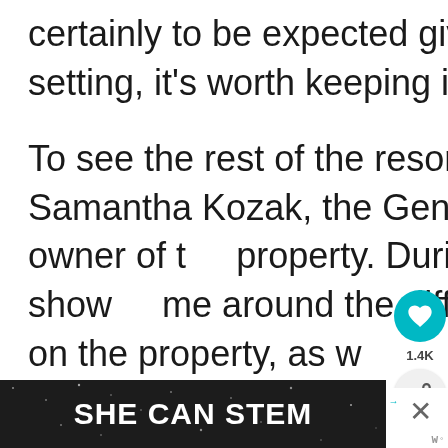certainly to be expected given their wooded setting, it's worth keeping in mind.
To see the rest of the resort, I took a tour with Samantha Kozak, the General Manager and co-owner of the property. During our tour, she showed me around the different lodging options on the property, as well as some of their amenities.
[Figure (screenshot): UI overlay with teal heart/like button, share count 1.4K, and share icon button]
[Figure (screenshot): What's Next widget showing thumbnail image and text 'Enjoying a Peaceful...']
[Figure (screenshot): SHE CAN STEM advertisement banner in dark background with white bold text]